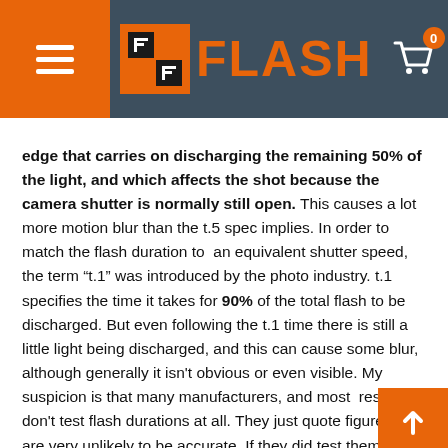FLASH
edge that carries on discharging the remaining 50% of the light, and which affects the shot because the camera shutter is normally still open. This causes a lot more motion blur than the t.5 spec implies. In order to match the flash duration to an equivalent shutter speed, the term “t.1” was introduced by the photo industry. t.1 specifies the time it takes for 90% of the total flash to be discharged. But even following the t.1 time there is still a little light being discharged, and this can cause some blur, although generally it isn't obvious or even visible. My suspicion is that many manufacturers, and most resellers, don't test flash durations at all. They just quote figures that are very unlikely to be accurate. If they did test them, then surely they would explain how the tests were carried out and show the results instead of just quoting impossibly good figures that most of their customers can't verify for themselves...